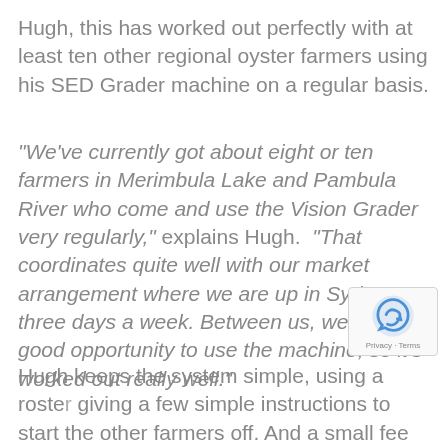Hugh, this has worked out perfectly with at least ten other regional oyster farmers using his SED Grader machine on a regular basis.
“We’ve currently got about eight or ten farmers in Merimbula Lake and Pambula River who come and use the Vision Grader very regularly,” explains Hugh. “That coordinates quite well with our market arrangement where we are up in Sydney three days a week. Between us, we all get a good opportunity to use the machine, so it’s worked out really well.”
Hugh keeps the system simple, using a roste… giving a few simple instructions to start the other farmers off. And a small fee for using the machine